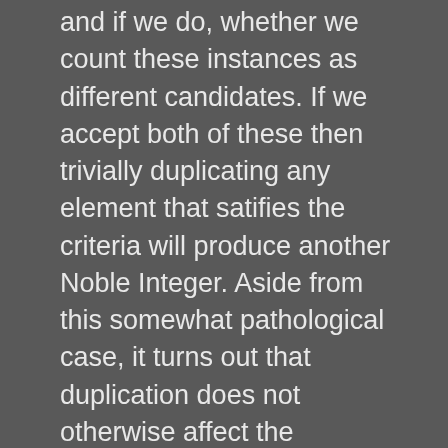and if we do, whether we count these instances as different candidates. If we accept both of these then trivially duplicating any element that satifies the criteria will produce another Noble Integer. Aside from this somewhat pathological case, it turns out that duplication does not otherwise affect the outcome. Elements of the list are only evaluated as to whether they are greater than a given item or not; their precise value is irrelevant beyond this scope. Whether or not they are the same as another element makes no difference. As it seems a stretch to consider